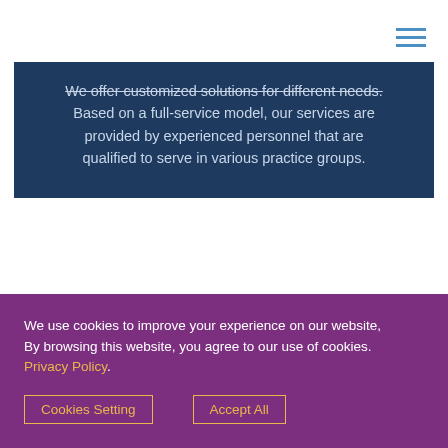[Figure (other): Hamburger menu icon with three horizontal blue lines in the top-right corner]
We offer customized solutions for different needs. Based on a full-service model, our services are provided by experienced personnel that are qualified to serve in various practice groups.
We use cookies to improve your experience on our website, By browsing this website, you agree to our use of cookies. Privacy Policy.
Cookies Setting   Accept All